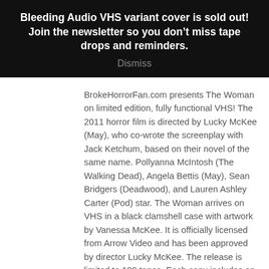Bleeding Audio VHS variant cover is sold out! Join the newsletter so you don't miss tape drops and reminders.
Dismiss
BrokeHorrorFan.com presents The Woman on limited edition, fully functional VHS! The 2011 horror film is directed by Lucky McKee (May), who co-wrote the screenplay with Jack Ketchum, based on their novel of the same name. Pollyanna McIntosh (The Walking Dead), Angela Bettis (May), Sean Bridgers (Deadwood), and Lauren Ashley Carter (Pod) star. The Woman arrives on VHS in a black clamshell case with artwork by Vanessa McKee. It is officially licensed from Arrow Video and has been approved by director Lucky McKee. The release is limited to 100 tapes. Each copy includes an exclusive introduction by actress Lauren Ashley Carter and letters from director Lucky Mckee and producer Andrew van den Houten. Stay tuned after the movie for a special feature: an interview with Lauren Ashley Carter.     The Woman (Pollyanna McIntosh), is the last surviving member of a deadly